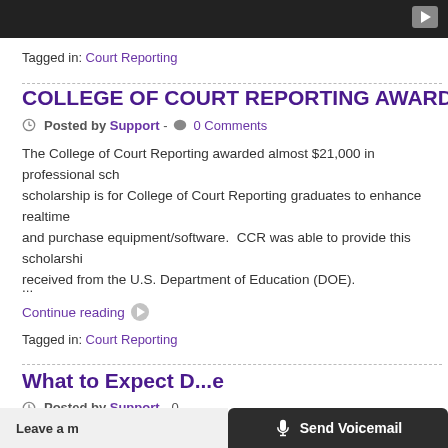[Figure (screenshot): Dark video player bar at top with play button icon in top right corner]
Tagged in: Court Reporting
COLLEGE OF COURT REPORTING AWARDS
Posted by Support - 0 Comments
The College of Court Reporting awarded almost $21,000 in professional sch... scholarship is for College of Court Reporting graduates to enhance realtime and purchase equipment/software.  CCR was able to provide this scholarshi... received from the U.S. Department of Education (DOE).
...
Continue reading
Tagged in: Court Reporting
What to Expect D...
Posted by Support - 0
Leave a m... Send Voicemail